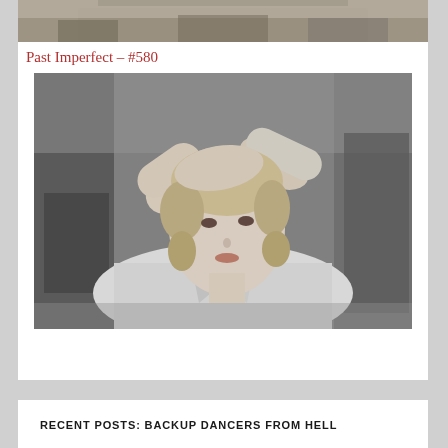[Figure (photo): Cropped top portion of a black and white photograph showing the lower part of a scene with foliage or branches visible at the top]
Past Imperfect – #580
[Figure (photo): Black and white photograph of a young blonde woman in a light-colored blazer, with her arms raised above her head, looking slightly to the side with a thoughtful expression. Blurred interior background.]
RECENT POSTS: BACKUP DANCERS FROM HELL